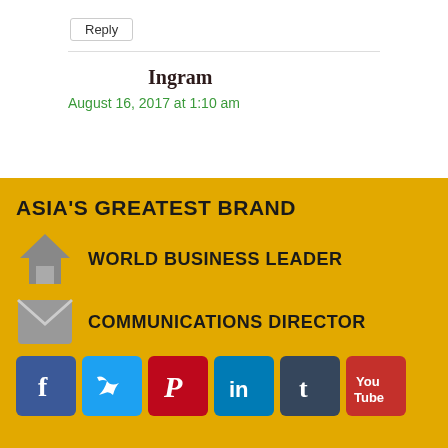Reply
Ingram
August 16, 2017 at 1:10 am
ASIA'S GREATEST BRAND
WORLD BUSINESS LEADER
COMMUNICATIONS DIRECTOR
[Figure (infographic): Social media icons: Facebook, Twitter, Pinterest, LinkedIn, Tumblr, YouTube]